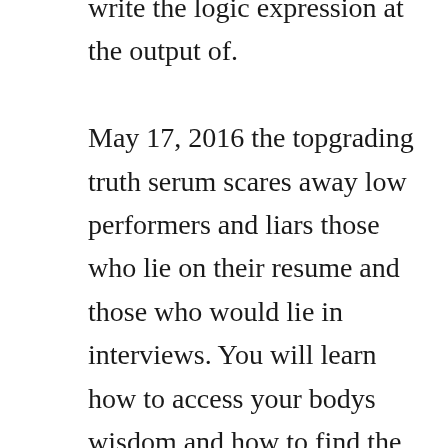write the logic expression at the output of. May 17, 2016 the topgrading truth serum scares away low performers and liars those who lie on their resume and those who would lie in interviews. You will learn how to access your bodys wisdom and how to find the truth. Many of you are in search of free download movie sites that are easily available. Immortal technique, born felipe coronel, is a revolutionary. Aikido, though praised as a healthful system of selfdefense techniques, would be nothing apart from the laws of the great universe. Its called the threat of